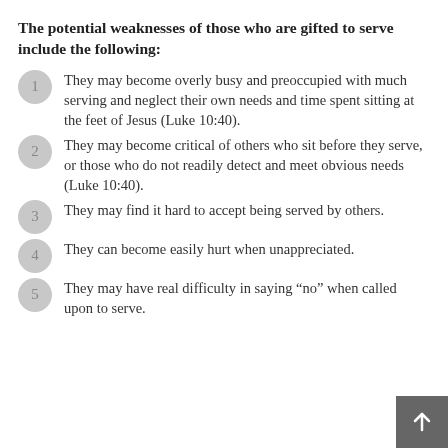The potential weaknesses of those who are gifted to serve include the following:
They may become overly busy and preoccupied with much serving and neglect their own needs and time spent sitting at the feet of Jesus (Luke 10:40).
They may become critical of others who sit before they serve, or those who do not readily detect and meet obvious needs (Luke 10:40).
They may find it hard to accept being served by others.
They can become easily hurt when unappreciated.
They may have real difficulty in saying “no” when called upon to serve.